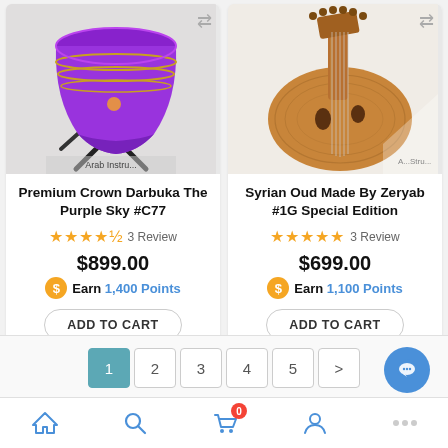[Figure (photo): Purple metallic darbuka drum on a stand, with Arab Instruments text visible at the bottom]
Premium Crown Darbuka The Purple Sky #C77
★★★★½ 3 Review
$899.00
Earn 1,400 Points
ADD TO CART
[Figure (photo): Wooden Syrian oud (lute) with decorative pegs, placed on a white background with Arab Instruments text]
Syrian Oud Made By Zeryab #1G Special Edition
★★★★★ 3 Review
$699.00
Earn 1,100 Points
ADD TO CART
1 2 3 4 5 >